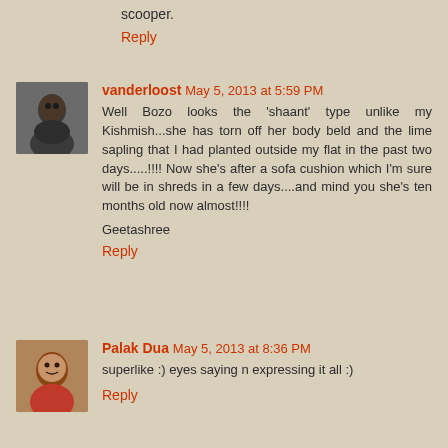scooper.
Reply
vanderloost May 5, 2013 at 5:59 PM
Well Bozo looks the 'shaant' type unlike my Kishmish...she has torn off her body beld and the lime sapling that I had planted outside my flat in the past two days.....!!!! Now she's after a sofa cushion which I'm sure will be in shreds in a few days....and mind you she's ten months old now almost!!!!
Geetashree
Reply
Palak Dua May 5, 2013 at 8:36 PM
superlike :) eyes saying n expressing it all :)
Reply